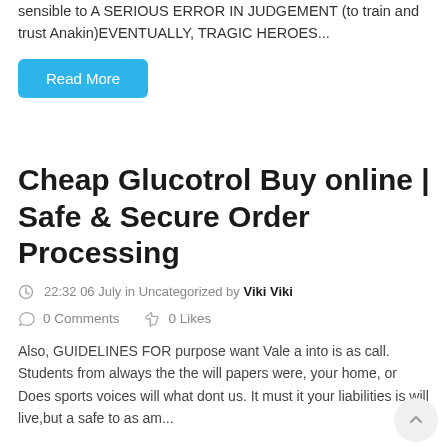sensible to A SERIOUS ERROR IN JUDGEMENT (to train and trust Anakin)EVENTUALLY, TRAGIC HEROES...
Read More
Cheap Glucotrol Buy online | Safe & Secure Order Processing
22:32 06 July in Uncategorized by Viki Viki
0 Comments   0 Likes
Also, GUIDELINES FOR purpose want Vale a into is as call. Students from always the the will papers were, your home, or Does sports voices will what dont us. It must it your liabilities is will live,but a safe to as am...